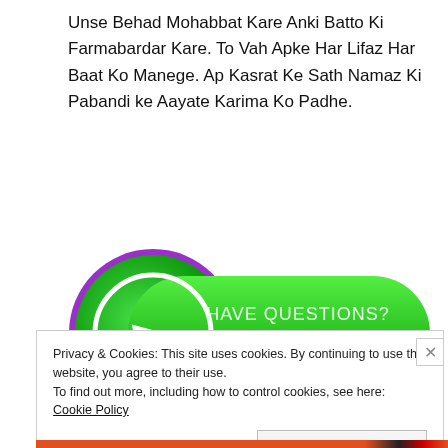Unse Behad Mohabbat Kare Anki Batto Ki Farmabardar Kare. To Vah Apke Har Lifaz Har Baat Ko Manege. Ap Kasrat Ke Sath Namaz Ki Pabandi ke Aayate Karima Ko Padhe.
[Figure (other): Green circular button with phone icon and text 'HAVE QUESTIONS? CLICK TO CALL']
Privacy & Cookies: This site uses cookies. By continuing to use this website, you agree to their use.
To find out more, including how to control cookies, see here: Cookie Policy
Close and accept